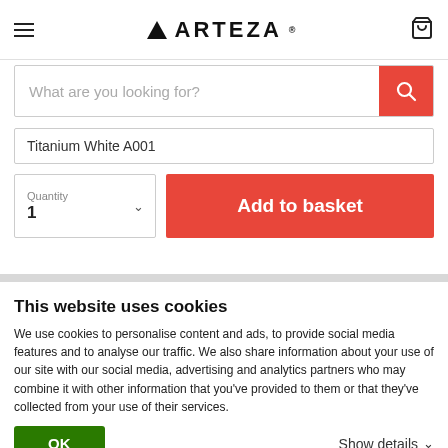ARTEZA
[Figure (screenshot): Search bar with placeholder text 'What are you looking for?' and red search button]
Titanium White A001
Quantity
1
Add to basket
This website uses cookies
We use cookies to personalise content and ads, to provide social media features and to analyse our traffic. We also share information about your use of our site with our social media, advertising and analytics partners who may combine it with other information that you've provided to them or that they've collected from your use of their services.
OK
Show details